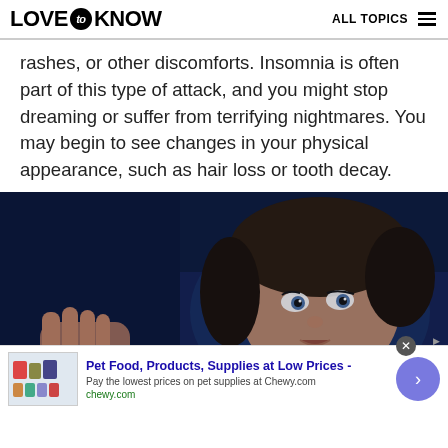LOVE to KNOW   ALL TOPICS
rashes, or other discomforts. Insomnia is often part of this type of attack, and you might stop dreaming or suffer from terrifying nightmares. You may begin to see changes in your physical appearance, such as hair loss or tooth decay.
[Figure (photo): A young person lying in bed, eyes wide open and distressed, looking upward in a dark blue-lit room, appearing unable to sleep.]
Pet Food, Products, Supplies at Low Prices - Pay the lowest prices on pet supplies at Chewy.com chewy.com